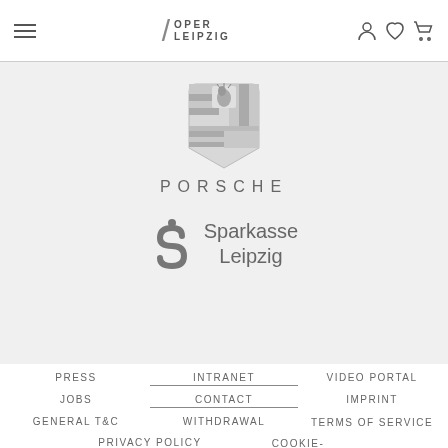Oper Leipzig – navigation header with hamburger menu, logo, and icons
[Figure (logo): Porsche shield crest logo and PORSCHE wordmark]
[Figure (logo): Sparkasse Leipzig logo – S symbol with text Sparkasse Leipzig]
PRESS
INTRANET
VIDEO PORTAL
JOBS
CONTACT
IMPRINT
GENERAL T&C
WITHDRAWAL
TERMS OF SERVICE
PRIVACY POLICY
COOKIE-EINSTELLUNGEN